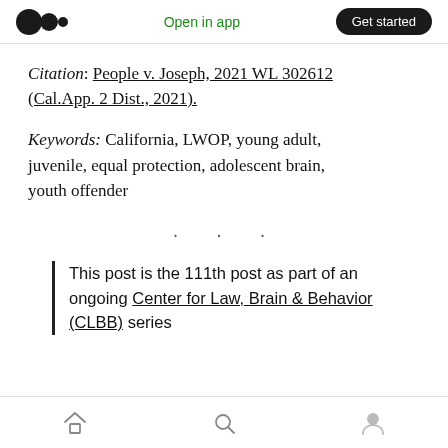Open in app  Get started
Citation: People v. Joseph, 2021 WL 302612 (Cal.App. 2 Dist., 2021).
Keywords: California, LWOP, young adult, juvenile, equal protection, adolescent brain, youth offender
· · ·
This post is the 111th post as part of an ongoing Center for Law, Brain & Behavior (CLBB) series
Home  Search  Profile